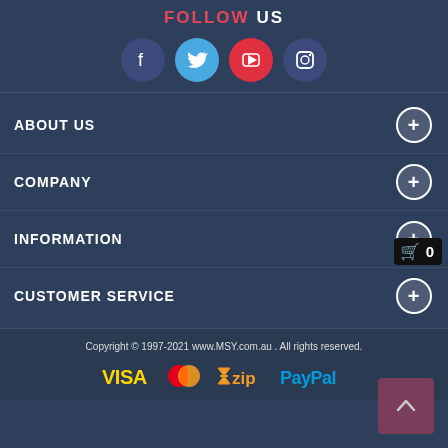FOLLOW US
[Figure (infographic): Four social media icons in circles: Facebook (dark blue), Twitter (light blue), YouTube (red), Instagram (dark blue)]
ABOUT US
COMPANY
INFORMATION
CUSTOMER SERVICE
Copyright © 1997-2021 www.MSY.com.au . All rights reserved.
[Figure (logo): Payment method logos: VISA, Mastercard, Zip, PayPal]